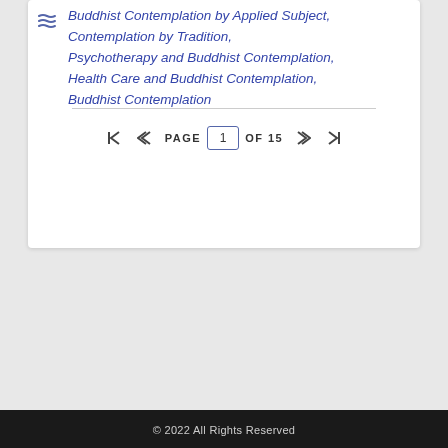Buddhist Contemplation by Applied Subject, Contemplation by Tradition, Psychotherapy and Buddhist Contemplation, Health Care and Buddhist Contemplation, Buddhist Contemplation
PAGE 1 OF 15
© 2022 All Rights Reserved